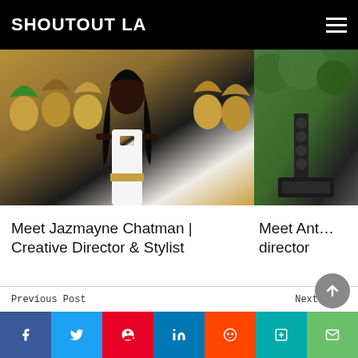SHOUTOUT LA
[Figure (photo): Woman with long curly black hair wearing a white outfit, standing in front of mannequin heads wearing colorful wigs]
Meet Jazmayne Chatman | Creative Director & Stylist
[Figure (photo): Outdoor event setup with speakers and equipment among trees]
Meet Ant... director
Previous Post
Meet Amy Byer: Principal, Handled – Exceptional Estate Sales
Next Post
Meet Jenna Suru: Festival Director, Line Producer, Director,